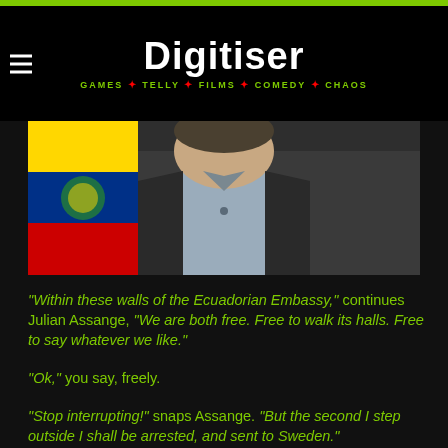Digitiser — GAMES * TELLY * FILMS * COMEDY * CHAOS
[Figure (photo): A man in a dark blazer and light shirt standing in front of an Ecuadorian flag; upper body/head visible]
"Within these walls of the Ecuadorian Embassy," continues Julian Assange, "We are both free. Free to walk its halls. Free to say whatever we like."
"Ok," you say, freely.
"Stop interrupting!" snaps Assange. "But the second I step outside I shall be arrested, and sent to Sweden."